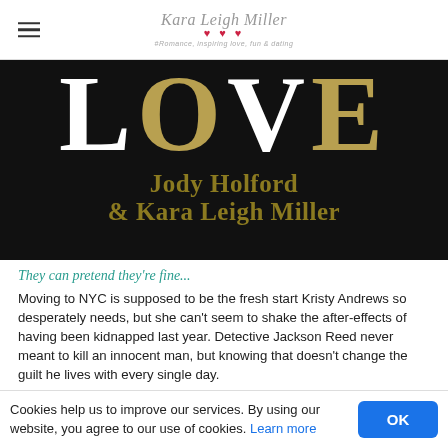Kara Leigh Miller
[Figure (illustration): Book cover with large white LOVE text on black background, with golden/olive colored author names: Jody Holford & Kara Leigh Miller]
They can pretend they're fine...
Moving to NYC is supposed to be the fresh start Kristy Andrews so desperately needs, but she can't seem to shake the after-effects of having been kidnapped last year. Detective Jackson Reed never meant to kill an innocent man, but knowing that doesn't change the guilt he lives with every single day.
But they can't hide for...
Cookies help us to improve our services. By using our website, you agree to our use of cookies. Learn more